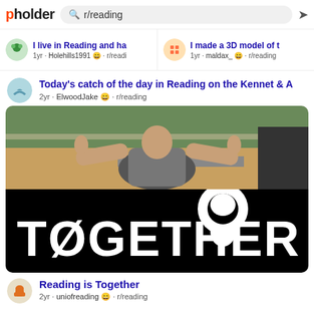pholder — r/reading
I live in Reading and ha — 1yr · Holehills1991 · r/reading
I made a 3D model of th — 1yr · maldax_ · r/reading
Today's catch of the day in Reading on the Kennet & A
2yr · ElwoodJake · r/reading
[Figure (photo): Person kneeling outdoors on sandy ground giving two thumbs up, wearing a grey t-shirt with greenery and a fence in background. Below is a black background with white TOGETHER text and a lion silhouette.]
Reading is Together
2yr · uniofreading · r/reading